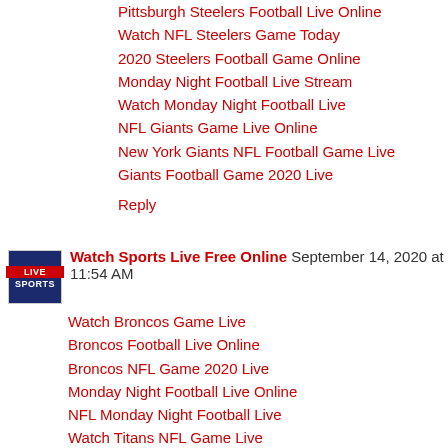Pittsburgh Steelers Football Live Online
Watch NFL Steelers Game Today
2020 Steelers Football Game Online
Monday Night Football Live Stream
Watch Monday Night Football Live
NFL Giants Game Live Online
New York Giants NFL Football Game Live
Giants Football Game 2020 Live
Reply
Watch Sports Live Free Online  September 14, 2020 at 11:54 AM
Watch Broncos Game Live
Broncos Football Live Online
Broncos NFL Game 2020 Live
Monday Night Football Live Online
NFL Monday Night Football Live
Watch Titans NFL Game Live
Tennessee Titans NFL Game Live
NFL Titans Game Live Online
Reply